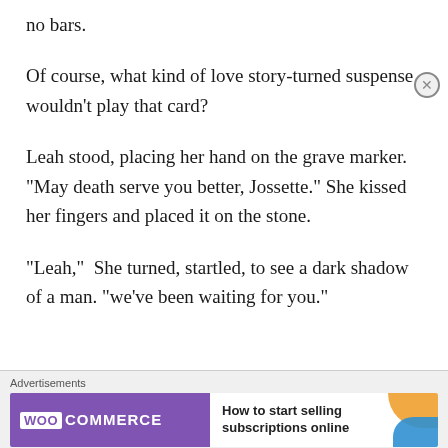no bars.
Of course, what kind of love story-turned suspense wouldn’t play that card?
Leah stood, placing her hand on the grave marker. “May death serve you better, Jossette.” She kissed her fingers and placed it on the stone.
“Leah,” She turned, startled, to see a dark shadow of a man. “we’ve been waiting for you.”
[Figure (screenshot): Advertisement banner for WooCommerce with text 'How to start selling subscriptions online']